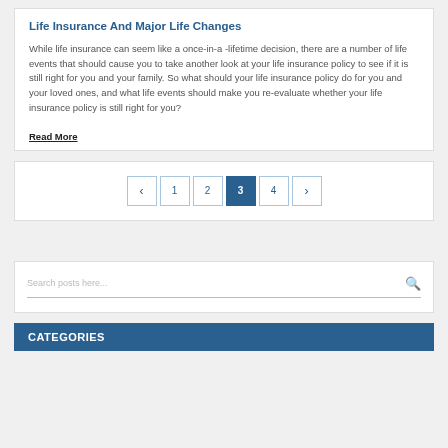Life Insurance And Major Life Changes
While life insurance can seem like a once-in-a -lifetime decision, there are a number of life events that should cause you to take another look at your life insurance policy to see if it is still right for you and your family. So what should your life insurance policy do for you and your loved ones, and what life events should make you re-evaluate whether your life insurance policy is still right for you?
Read More
< 1 2 3 4 >
Search posts here...
CATEGORIES